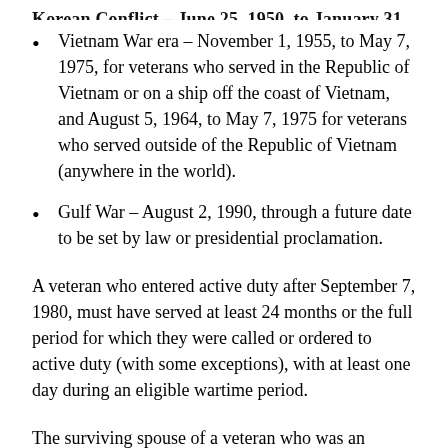Vietnam War era – November 1, 1955, to May 7, 1975, for veterans who served in the Republic of Vietnam or on a ship off the coast of Vietnam, and August 5, 1964, to May 7, 1975 for veterans who served outside of the Republic of Vietnam (anywhere in the world).
Gulf War – August 2, 1990, through a future date to be set by law or presidential proclamation.
A veteran who entered active duty after September 7, 1980, must have served at least 24 months or the full period for which they were called or ordered to active duty (with some exceptions), with at least one day during an eligible wartime period.
The surviving spouse of a veteran who was an officer and started on active duty after October 16, 1981 and